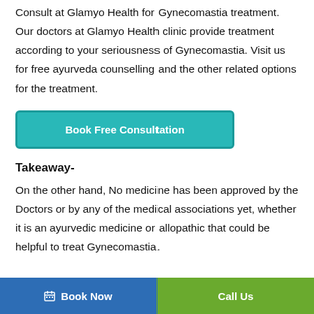Consult at Glamyo Health for Gynecomastia treatment. Our doctors at Glamyo Health clinic provide treatment according to your seriousness of Gynecomastia. Visit us for free ayurveda counselling and the other related options for the treatment.
[Figure (other): Teal/turquoise button labeled 'Book Free Consultation']
Takeaway-
On the other hand, No medicine has been approved by the Doctors or by any of the medical associations yet, whether it is an ayurvedic medicine or allopathic that could be helpful to treat Gynecomastia.
Book Now   Call Us